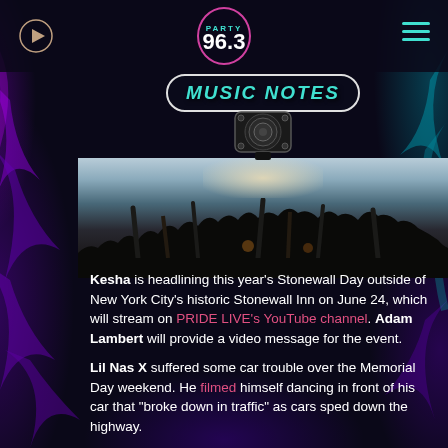PARTY 96.3
[Figure (illustration): Music Notes banner with speaker graphic above a concert crowd photo showing silhouetted audience with raised hands and stage lighting]
Kesha is headlining this year's Stonewall Day outside of New York City's historic Stonewall Inn on June 24, which will stream on PRIDE LIVE's YouTube channel. Adam Lambert will provide a video message for the event.
Lil Nas X suffered some car trouble over the Memorial Day weekend. He filmed himself dancing in front of his car that "broke down in traffic" as cars sped down the highway.